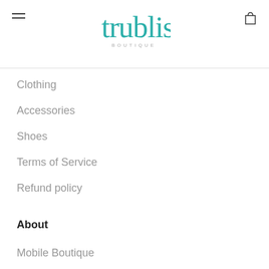tru bliss BOUTIQUE
Clothing
Accessories
Shoes
Terms of Service
Refund policy
About
Mobile Boutique
About